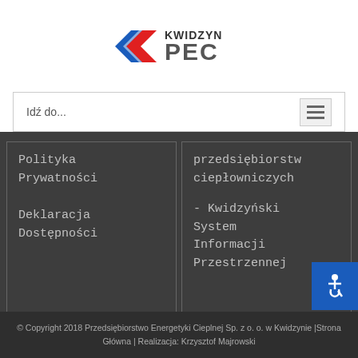[Figure (logo): Kwidzyn PEC logo with red and blue arrow/chevron icon and text KWIDZYN PEC]
Idź do...
Polityka Prywatności
Deklaracja Dostępności
przedsiębiorstw ciepłowniczych
- Kwidzyński System Informacji Przestrzennej
© Copyright 2018 Przedsiębiorstwo Energetyki Cieplnej Sp. z o. o. w Kwidzynie |Strona Główna | Realizacja: Krzysztof Majrowski